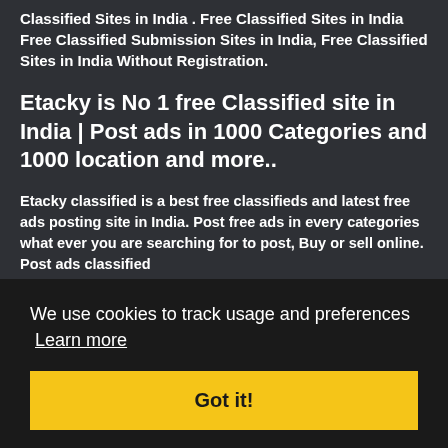Classified Sites in India . Free Classified Sites in India Free Classified Submission Sites in India, Free Classified Sites in India Without Registration.
Etacky is No 1 free Classified site in India | Post ads in 1000 Categories and 1000 location and more..
Etacky classified is a best free classifieds and latest free ads posting site in India. Post free ads in every categories what ever you are searching for to post, Buy or sell online. Post ads classified
a, Buy vices in nial
[Figure (other): Cookie consent banner overlay with text 'We use cookies to track usage and preferences Learn more' and a yellow 'Got it!' button]
uty l estate at near
you, Find to buy, Find furniture to you services in all over India, Shop for rent or sell, House for rent or sell, Find or post jobs, do in